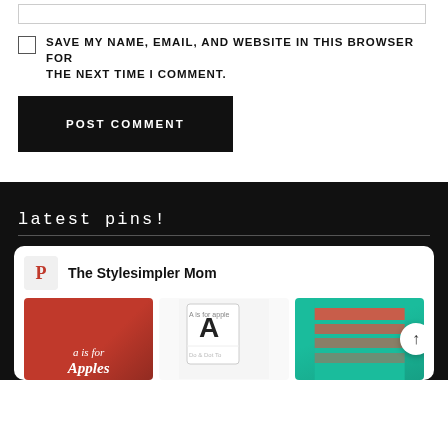[input bar]
Save my name, email, and website in this browser for the next time I comment.
POST COMMENT
Latest Pins!
[Figure (screenshot): Pinterest embed card showing 'The Stylesimpler Mom' with three pin images: a red 'A is for Apples' graphic, an alphabet coloring page, and a teal/red craft project. A scroll right arrow button is visible.]